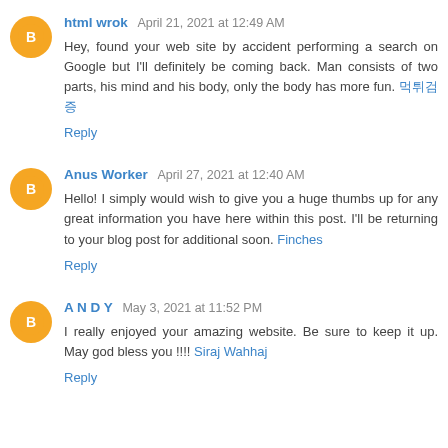html wrok  April 21, 2021 at 12:49 AM
Hey, found your web site by accident performing a search on Google but I'll definitely be coming back. Man consists of two parts, his mind and his body, only the body has more fun. 먹튀검증
Reply
Anus Worker  April 27, 2021 at 12:40 AM
Hello! I simply would wish to give you a huge thumbs up for any great information you have here within this post. I'll be returning to your blog post for additional soon. Finches
Reply
A N D Y  May 3, 2021 at 11:52 PM
I really enjoyed your amazing website. Be sure to keep it up. May god bless you !!!! Siraj Wahhaj
Reply